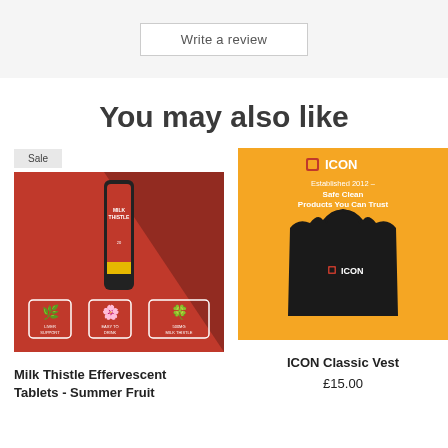Write a review
You may also like
[Figure (photo): Milk Thistle Effervescent Tablets Summer Fruit product image on red background with icons for Liver Support, Easy to Drink, 500mg Milk Thistle. Sale badge visible.]
[Figure (photo): ICON Classic Vest product image on yellow background. ICON logo at top, text: Established 2012 - Safe Clean Products You Can Trust. Black tank top with ICON logo.]
Milk Thistle Effervescent Tablets - Summer Fruit
ICON Classic Vest
£15.00